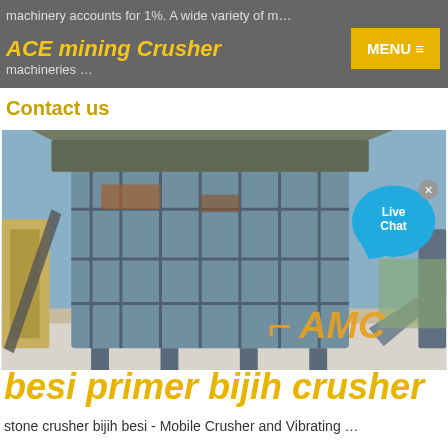ACE mining Crusher  MENU ≡  machinery accounts for 1%. A wide variety of m... machineries ...
Contact us
[Figure (photo): Industrial mining crusher / vibrating screen machine outdoors with AMC logo overlay and Live Chat bubble]
besi primer bijih crusher
stone crusher bijih besi - Mobile Crusher and Vibrating ...